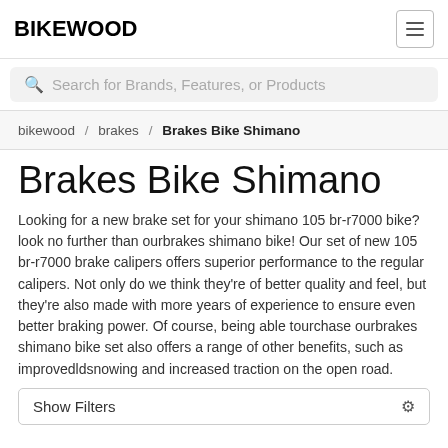BIKEWOOD
Search for Brands, Features, or Products
bikewood / brakes / Brakes Bike Shimano
Brakes Bike Shimano
Looking for a new brake set for your shimano 105 br-r7000 bike? look no further than ourbrakes shimano bike! Our set of new 105 br-r7000 brake calipers offers superior performance to the regular calipers. Not only do we think they're of better quality and feel, but they're also made with more years of experience to ensure even better braking power. Of course, being able tourchase ourbrakes shimano bike set also offers a range of other benefits, such as improvedldsnowing and increased traction on the open road.
Show Filters